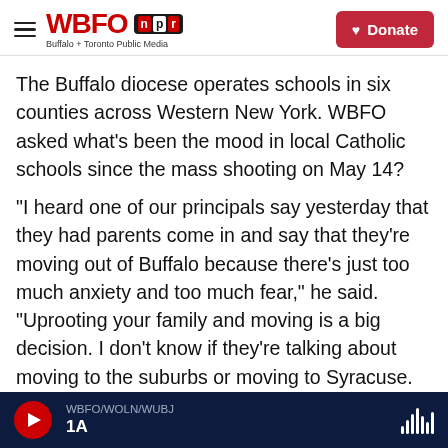WBFO npr — Buffalo + Toronto Public Media | Donate
The Buffalo diocese operates schools in six counties across Western New York. WBFO asked what's been the mood in local Catholic schools since the mass shooting on May 14?
"I heard one of our principals say yesterday that they had parents come in and say that they're moving out of Buffalo because there's just too much anxiety and too much fear," he said. "Uprooting your family and moving is a big decision. I don't know if they're talking about moving to the suburbs or moving to Syracuse. But, yeah, the schools that are in the city are very much impacted.
WBFO/WOLN/WUBJ 1A